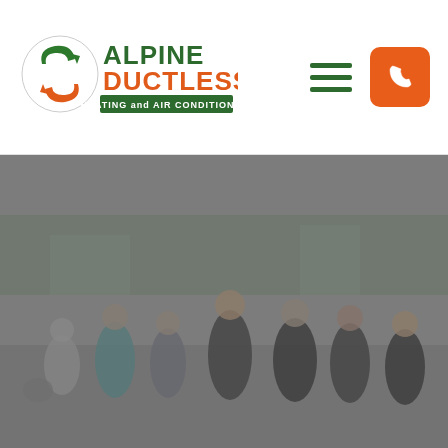[Figure (logo): Alpine Ductless Heating and Air Conditioning logo with circular arrow icon]
[Figure (other): Hamburger menu icon (three green horizontal lines)]
[Figure (other): Orange phone call button icon]
[Figure (photo): Group of approximately 7-8 people walking together outdoors in a parking lot with trees, some in blue and dark polo shirts, one person in a wheelchair. Image has a dark grey overlay.]